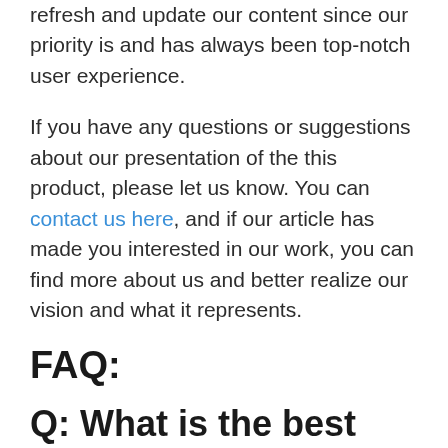refresh and update our content since our priority is and has always been top-notch user experience.
If you have any questions or suggestions about our presentation of the this product, please let us know. You can contact us here, and if our article has made you interested in our work, you can find more about us and better realize our vision and what it represents.
FAQ:
Q: What is the best memory stick for photos?
A: ThePhotoStick - USB Backup Flash Drive